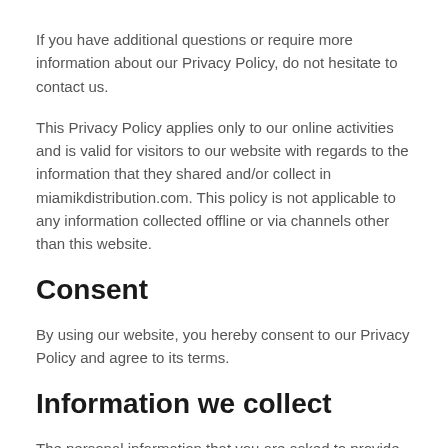If you have additional questions or require more information about our Privacy Policy, do not hesitate to contact us.
This Privacy Policy applies only to our online activities and is valid for visitors to our website with regards to the information that they shared and/or collect in miamikdistribution.com. This policy is not applicable to any information collected offline or via channels other than this website.
Consent
By using our website, you hereby consent to our Privacy Policy and agree to its terms.
Information we collect
The personal information that you are asked to provide, and the reasons why you are asked to provide it, will be made clear to you at the point we ask you to provide your personal